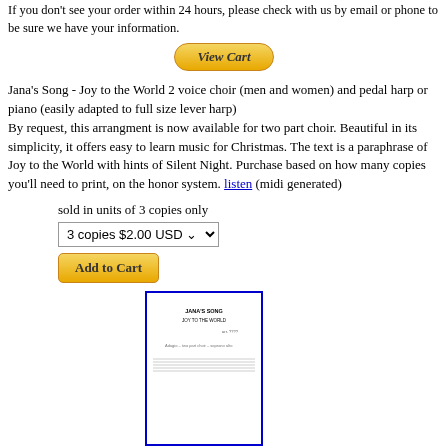If you don't see your order within 24 hours, please check with us by email or phone to be sure we have your information.
[Figure (other): View Cart button - yellow/gold pill-shaped button with italic bold text 'View Cart']
Jana's Song - Joy to the World 2 voice choir (men and women) and pedal harp or piano (easily adapted to full size lever harp) By request, this arrangment is now available for two part choir. Beautiful in its simplicity, it offers easy to learn music for Christmas. The text is a paraphrase of Joy to the World with hints of Silent Night. Purchase based on how many copies you'll need to print, on the honor system. listen (midi generated)
sold in units of 3 copies only
3 copies $2.00 USD
[Figure (other): Add to Cart button - yellow/gold rounded rectangle button with bold text 'Add to Cart']
[Figure (other): Sheet music preview thumbnail showing Jana's Song score with blue border]